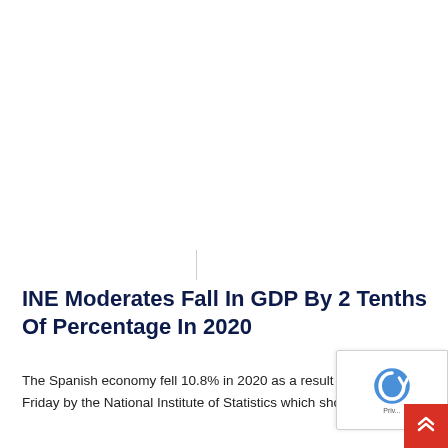INE Moderates Fall In GDP By 2 Tenths Of Percentage In 2020
The Spanish economy fell 10.8% in 2020 as a result of the impact on the activity of the covid-19 pandemic , according to the data confirmed this Friday by the National Institute of Statistics which shows a moderation of two tenths with respect to the